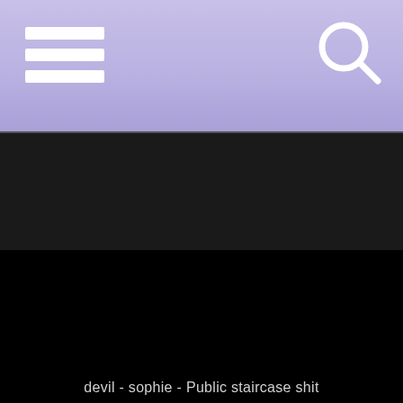[Figure (screenshot): App screenshot with purple gradient header bar containing hamburger menu icon on left and search icon on right, dark band below, and black video area with caption text]
devil - sophie - Public staircase shit